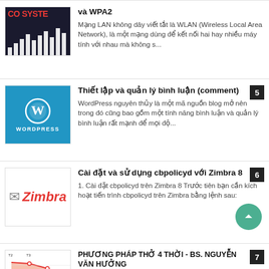và WPA2 — Mạng LAN không dây viết tắt là WLAN (Wireless Local Area Network), là một mạng dùng để kết nối hai hay nhiều máy tính với nhau mà không s...
5 — Thiết lập và quản lý bình luận (comment) — WordPress nguyên thủy là một mã nguồn blog mở nên trong đó cũng bao gồm một tính năng bình luận và quản lý bình luận rất mạnh để mọi độ...
6 — Cài đặt và sử dụng cbpolicyd với Zimbra 8 — 1. Cài đặt cbpolicyd trên Zimbra 8 Trước tiên bạn cần kích hoạt tiến trình cbpolicyd trên Zimbra bằng lệnh sau:
7 — PHƯƠNG PHÁP THỞ 4 THỜI - BS. NGUYỄN VĂN HƯỞNG — Là một trong những cách thức luyện nội lực rất hay. Tuy nhiên, chỉ có những ai học khoa Đông Y